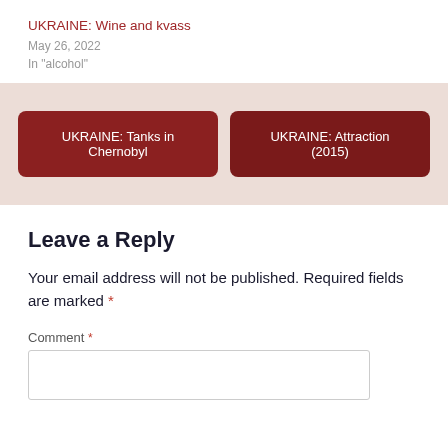UKRAINE: Wine and kvass
May 26, 2022
In "alcohol"
UKRAINE: Tanks in Chernobyl
UKRAINE: Attraction (2015)
Leave a Reply
Your email address will not be published. Required fields are marked *
Comment *